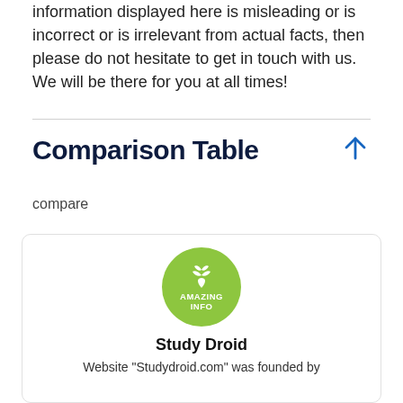information displayed here is misleading or is incorrect or is irrelevant from actual facts, then please do not hesitate to get in touch with us. We will be there for you at all times!
Comparison Table
compare
[Figure (logo): Green circular logo with a plant/leaf icon and text 'AMAZING INFO']
Study Droid
Website "Studydroid.com" was founded by